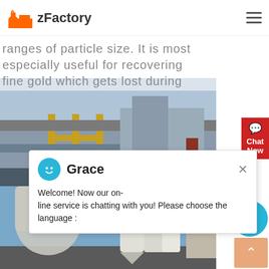[Figure (logo): zFactory logo with orange factory icon and text zFactory]
ranges of particle size. It is most especially useful for recovering fine gold which gets lost during
[Figure (photo): Industrial facility photo showing yellow scaffolding and metal structure]
Email contact
[Figure (photo): Industrial milling/grinding facility with cylindrical equipment and silos against blue sky]
[Figure (screenshot): Chat popup with agent Grace saying: Welcome! Now our on-line service is chatting with you! Please choose the language :]
[Figure (other): Red Chat Now button on right side]
[Figure (other): Teal notification circle with number 1]
[Figure (other): Orange back-to-top arrow button]